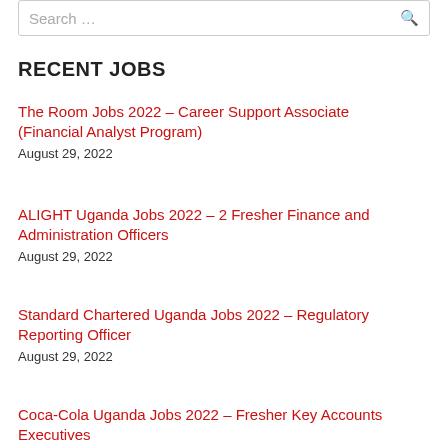Search …
RECENT JOBS
The Room Jobs 2022 – Career Support Associate (Financial Analyst Program)
August 29, 2022
ALIGHT Uganda Jobs 2022 – 2 Fresher Finance and Administration Officers
August 29, 2022
Standard Chartered Uganda Jobs 2022 – Regulatory Reporting Officer
August 29, 2022
Coca-Cola Uganda Jobs 2022 – Fresher Key Accounts Executives